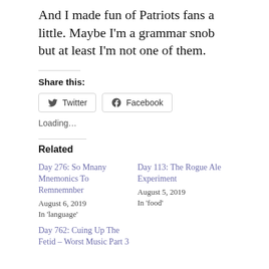And I made fun of Patriots fans a little. Maybe I'm a grammar snob but at least I'm not one of them.
Share this:
[Figure (other): Twitter and Facebook share buttons]
Loading…
Related
Day 276: So Mnany Mnemonics To Remnemnber
August 6, 2019
In 'language'
Day 113: The Rogue Ale Experiment
August 5, 2019
In 'food'
Day 762: Cuing Up The Fetid – Worst Music Part 3